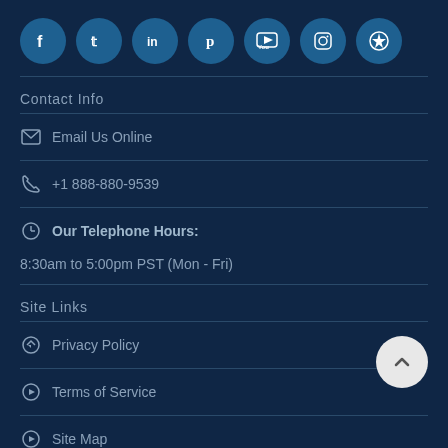[Figure (other): Row of 7 social media icon circles: Facebook, Twitter, LinkedIn, Pinterest, YouTube, Instagram, and a star/rebel alliance icon, all in blue circles]
Contact Info
Email Us Online
+1 888-880-9539
Our Telephone Hours:
8:30am to 5:00pm PST (Mon - Fri)
Site Links
Privacy Policy
Terms of Service
Site Map